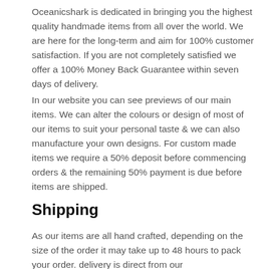Oceanicshark is dedicated in bringing you the highest quality handmade items from all over the world. We are here for the long-term and aim for 100% customer satisfaction. If you are not completely satisfied we offer a 100% Money Back Guarantee within seven days of delivery.
In our website you can see previews of our main items. We can alter the colours or design of most of our items to suit your personal taste & we can also manufacture your own designs. For custom made items we require a 50% deposit before commencing orders & the remaining 50% payment is due before items are shipped.
Shipping
As our items are all hand crafted, depending on the size of the order it may take up to 48 hours to pack your order. delivery is direct from our